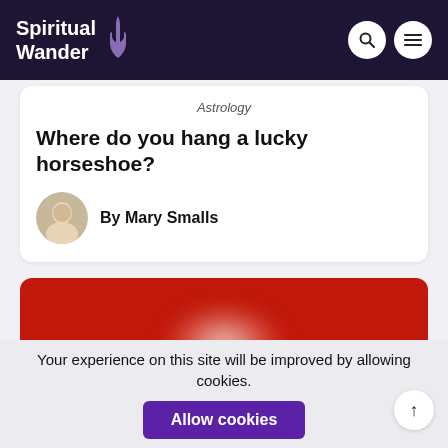Spiritual Wander
Astrology
Where do you hang a lucky horseshoe?
By Mary Smalls
[Figure (photo): Red background photo with a blurred white/light object in the center, likely a horseshoe]
Your experience on this site will be improved by allowing cookies.
Allow cookies